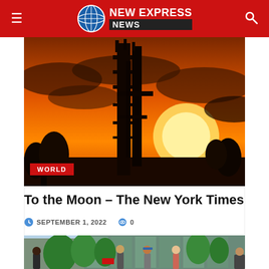NEW EXPRESS NEWS
[Figure (photo): Rocket launch structure silhouetted against an orange sunset sky with sun visible on the right side]
To the Moon – The New York Times
SEPTEMBER 1, 2022   0
[Figure (photo): People standing outdoors near green trees in front of a building with glass facade]